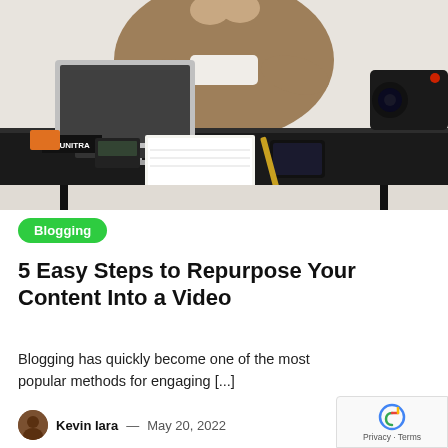[Figure (photo): Person sitting at a black desk with a laptop/monitor, notebooks, phone, and a camera visible on the right side. Person is wearing a brown sweater and touching their hair.]
Blogging
5 Easy Steps to Repurpose Your Content Into a Video
Blogging has quickly become one of the most popular methods for engaging [...]
Kevin Iara — May 20, 2022